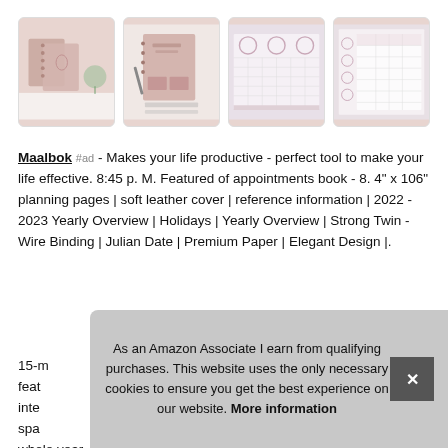[Figure (photo): Four product photos of a pink/mauve planner/appointment book shown in a horizontal gallery strip: (1) two spiral planners on a table, (2) open planner with pen, (3) weekly spread layout pages, (4) monthly tracker pages.]
Maalbok #ad - Makes your life productive - perfect tool to make your life effective. 8:45 p. M. Featured of appointments book - 8. 4" x 106" planning pages | soft leather cover | reference information | 2022 - 2023 Yearly Overview | Holidays | Yearly Overview | Strong Twin - Wire Binding | Julian Date | Premium Paper | Elegant Design |.
15-m feat inte spa whole year.
As an Amazon Associate I earn from qualifying purchases. This website uses the only necessary cookies to ensure you get the best experience on our website. More information